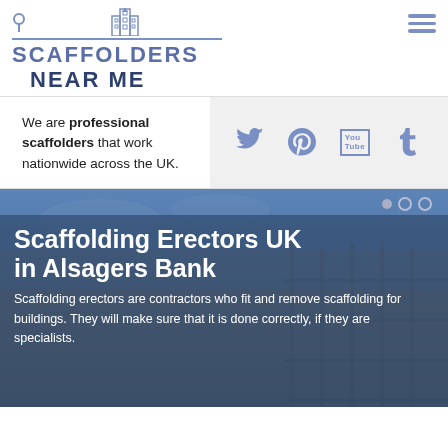[Figure (logo): Scaffolders Near Me logo with pin icon, building icon, horizontal line, and text SCAFFOLDERS NEAR ME in blue]
We are professional scaffolders that work nationwide across the UK.
[Figure (infographic): Social media icons: Twitter, Pinterest, YouTube, Tumblr in blue on grey background]
Scaffolding Erectors UK in Alsagers Bank
Scaffolding erectors are contractors who fit and remove scaffolding for buildings. They will make sure that it is done correctly, if they are specialists.